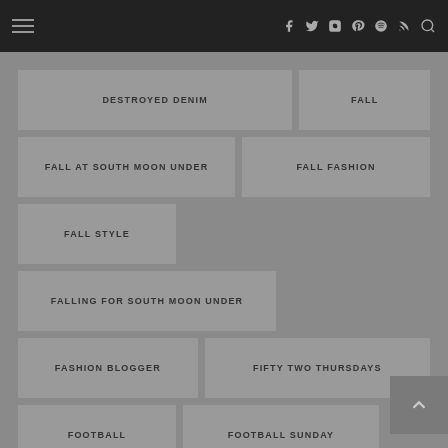Navigation bar with hamburger menu and social icons: Facebook, Twitter, Instagram, Pinterest, Spotify, RSS, Search
DESTROYED DENIM
FALL
FALL AT SOUTH MOON UNDER
FALL FASHION
FALL STYLE
FALLING FOR SOUTH MOON UNDER
FASHION BLOGGER
FIFTY TWO THURSDAYS
FOOTBALL
FOOTBALL SUNDAY
FRINGE FOR FALL
FRINGE SWEATER